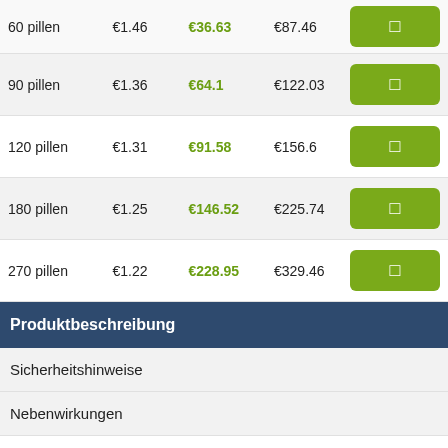| Menge | Pro Pille | Preis | Einzelpreis |  |
| --- | --- | --- | --- | --- |
| 60 pillen | €1.46 | €36.63 | €87.46 |  |
| 90 pillen | €1.36 | €64.1 | €122.03 |  |
| 120 pillen | €1.31 | €91.58 | €156.6 |  |
| 180 pillen | €1.25 | €146.52 | €225.74 |  |
| 270 pillen | €1.22 | €228.95 | €329.46 |  |
Produktbeschreibung
Sicherheitshinweise
Nebenwirkungen
INDICATIONS
Malegra DXT is a combination drug that is made of 2 active compounds, namely Sildenafil citrate and Duloxetine.
Sildenafil citrate...